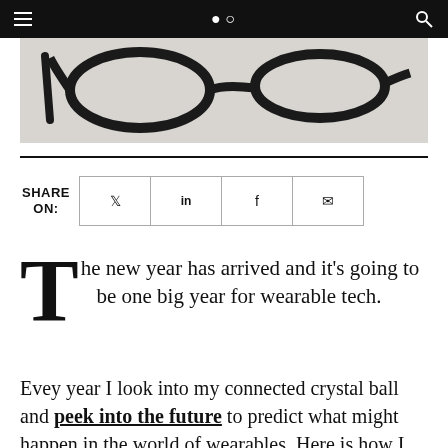Navigation bar with hamburger menu and search icon
[Figure (photo): Black wearable glasses/headset lying on a light gray/white surface, photographed from above]
The new year has arrived and it's going to be one big year for wearable tech.
Evey year I look into my connected crystal ball and peek into the future to predict what might happen in the world of wearables. Here is how I